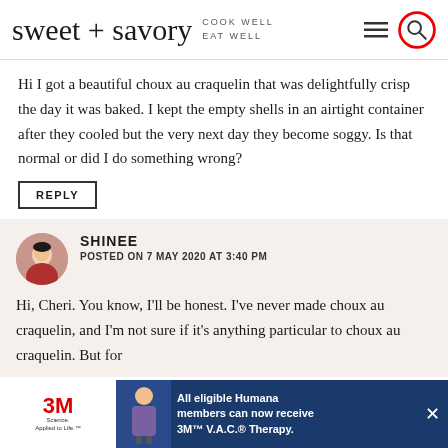sweet + savory — COOK WELL EAT WELL
Hi I got a beautiful choux au craquelin that was delightfully crisp the day it was baked. I kept the empty shells in an airtight container after they cooled but the very next day they become soggy. Is that normal or did I do something wrong?
REPLY
SHINEE
POSTED ON 7 MAY 2020 AT 3:40 PM
Hi, Cheri. You know, I'll be honest. I've never made choux au craquelin, and I'm not sure if it's anything particular to choux au craquelin. But for
[Figure (screenshot): Advertisement banner: 3M Science Applied to Life logo on left, blue background with text 'All eligible Humana members can now receive 3M™ V.A.C.® Therapy.' on right]